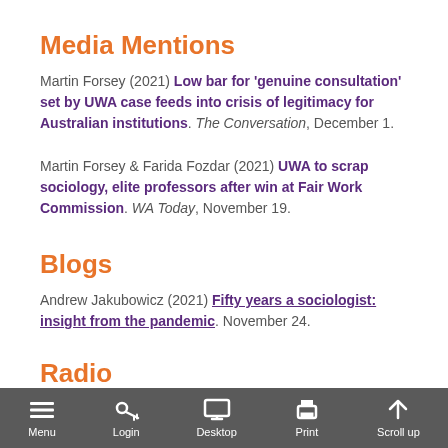Media Mentions
Martin Forsey (2021) Low bar for 'genuine consultation' set by UWA case feeds into crisis of legitimacy for Australian institutions. The Conversation, December 1.
Martin Forsey & Farida Fozdar (2021) UWA to scrap sociology, elite professors after win at Fair Work Commission. WA Today, November 19.
Blogs
Andrew Jakubowicz (2021) Fifty years a sociologist: insight from the pandemic. November 24.
Radio